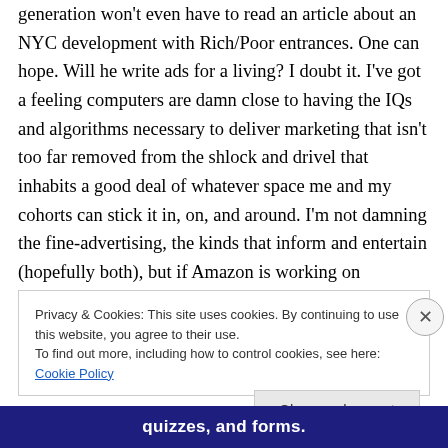generation won't even have to read an article about an NYC development with Rich/Poor entrances. One can hope. Will he write ads for a living? I doubt it. I've got a feeling computers are damn close to having the IQs and algorithms necessary to deliver marketing that isn't too far removed from the shlock and drivel that inhabits a good deal of whatever space me and my cohorts can stick it in, on, and around. I'm not damning the fine-advertising, the kinds that inform and entertain (hopefully both), but if Amazon is working on programs that write books based off of collective-human narrative preferences, you can be
Privacy & Cookies: This site uses cookies. By continuing to use this website, you agree to their use.
To find out more, including how to control cookies, see here: Cookie Policy
Close and accept
quizzes, and forms.